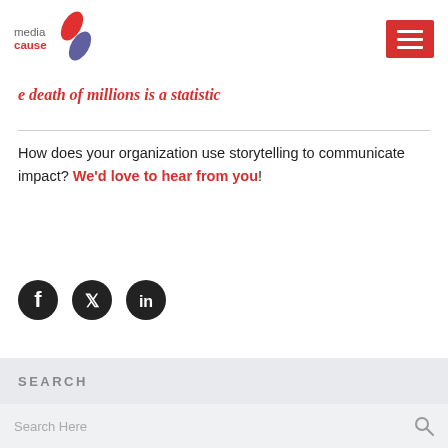[Figure (logo): Media Cause logo with red and purple capsule/arrow graphic and text 'media cause' in red and gray]
[Figure (other): Red hamburger menu button with three white horizontal lines]
e death of millions is a statistic
How does your organization use storytelling to communicate impact? We'd love to hear from you!
[Figure (other): Three circular social media icons: Facebook, Twitter, LinkedIn]
SEARCH
Search Here